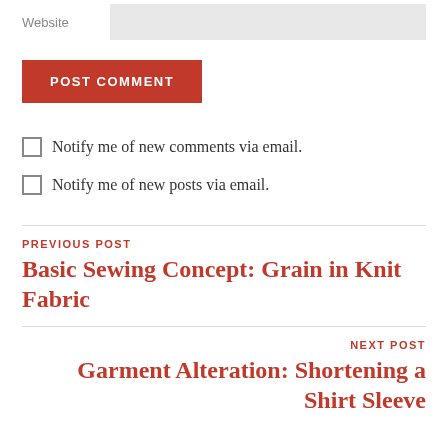Website
POST COMMENT
Notify me of new comments via email.
Notify me of new posts via email.
PREVIOUS POST
Basic Sewing Concept: Grain in Knit Fabric
NEXT POST
Garment Alteration: Shortening a Shirt Sleeve